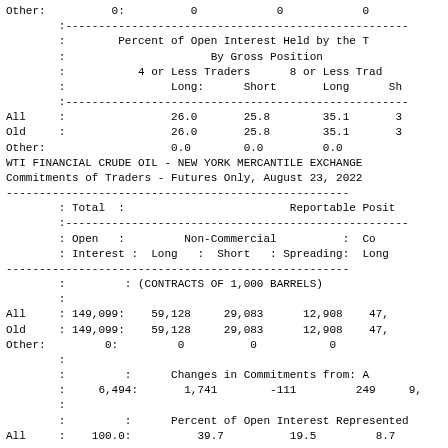|  | Total Open Interest | Non-Commercial Long | Non-Commercial Short | Non-Commercial Spreading | Commercial Long |
| --- | --- | --- | --- | --- | --- |
| Other: | 0: | 0 | 0 | 0 |  |
|  | : | Percent of Open Interest Held by the |  |  |  |
|  | : | By Gross Position |  |  |  |
|  | : | 4 or Less Traders |  | 8 or Less Trad... |  |
|  | : | Long: | Short | Long | Sh... |
| All | : | 26.0 | 25.8 | 35.1 | 3... |
| Old | : | 26.0 | 25.8 | 35.1 | 3... |
| Other: |  | 0.0 | 0.0 | 0.0 |  |
WTI FINANCIAL CRUDE OIL - NEW YORK MERCANTILE EXCHANGE
Commitments of Traders - Futures Only, August 23, 2022
|  | Total Open Interest | Non-Commercial Long | Non-Commercial Short | Non-Commercial Spreading | Commercial Long |
| --- | --- | --- | --- | --- | --- |
|  | Total : |  | Reportable Posit... |  |  |
|  | Open : | Non-Commercial | : | Co... |  |
|  | Interest : | Long : Short | : Spreading: | Long... |  |
|  | : | (CONTRACTS OF 1,000 BARRELS) |  |  |  |
| All | 149,099: | 59,128 | 29,083 | 12,908 | 47,... |
| Old | 149,099: | 59,128 | 29,083 | 12,908 | 47,... |
| Other: | 0: | 0 | 0 | 0 |  |
|  | : | Changes in Commitments from: A... |  |  |  |
|  | 6,494: | 1,741 | -111 | 249 | 9,... |
|  | : | Percent of Open Interest Represented... |  |  |  |
| All | 100.0: | 39.7 | 19.5 | 8.7 | ... |